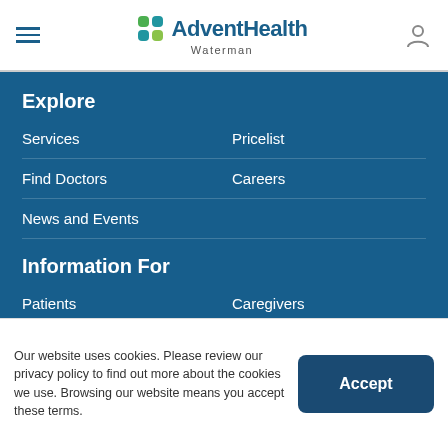AdventHealth Waterman
Explore
Services
Pricelist
Find Doctors
Careers
News and Events
Information For
Patients
Caregivers
Visitors
Community Outreach
Our website uses cookies. Please review our privacy policy to find out more about the cookies we use. Browsing our website means you accept these terms.